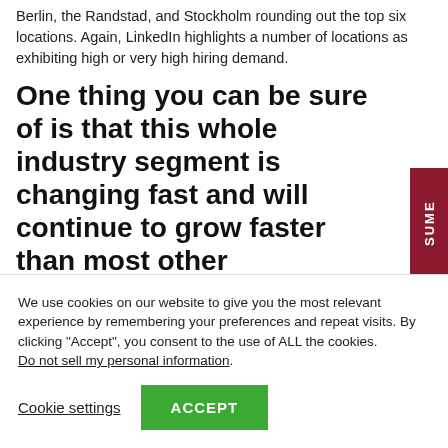Berlin, the Randstad, and Stockholm rounding out the top six locations. Again, LinkedIn highlights a number of locations as exhibiting high or very high hiring demand.
One thing you can be sure of is that this whole industry segment is changing fast and will continue to grow faster than most other
We use cookies on our website to give you the most relevant experience by remembering your preferences and repeat visits. By clicking "Accept", you consent to the use of ALL the cookies. Do not sell my personal information.
Cookie settings  ACCEPT